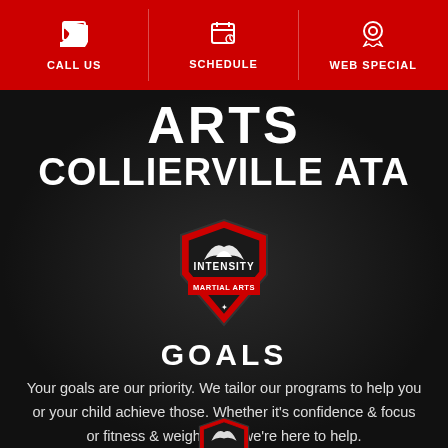CALL US | SCHEDULE | WEB SPECIAL
ARTS
COLLIERVILLE ATA
[Figure (logo): Intensity Martial Arts shield logo with eagle/bird emblem, red and dark colors, text INTENSITY MARTIAL ARTS]
GOALS
Your goals are our priority. We tailor our programs to help you or your child achieve those. Whether it's confidence & focus or fitness & weight loss, we're here to help.
[Figure (logo): Intensity Martial Arts shield logo (partial, bottom of page)]